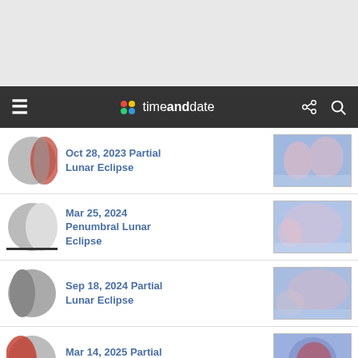[Figure (screenshot): Gray top area - partial page screenshot header]
timeanddate navigation bar with hamburger, logo, share and search icons
Oct 28, 2023 Partial Lunar Eclipse
Mar 25, 2024 Penumbral Lunar Eclipse
Sep 18, 2024 Partial Lunar Eclipse
Mar 14, 2025 Partial Lunar Eclipse
Note: Click on the date link for details in Osogbo, or the path map image for global details. Currently shown eclipse is highlighted.